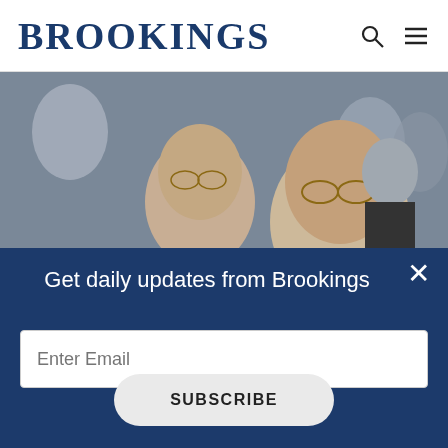BROOKINGS
[Figure (photo): Two men in suits seated at a table during an official hearing or conference. The man on the right, elderly with glasses and a gold tie, is speaking and gesturing with his left hand pointing forward. The man on the left has glasses and a light blue tie. Other people are visible in the background.]
Get daily updates from Brookings
Enter Email
SUBSCRIBE